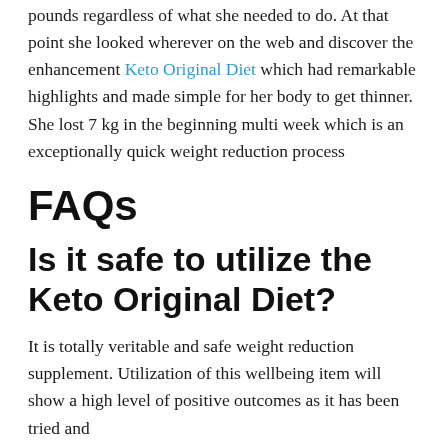pounds regardless of what she needed to do. At that point she looked wherever on the web and discover the enhancement Keto Original Diet which had remarkable highlights and made simple for her body to get thinner. She lost 7 kg in the beginning multi week which is an exceptionally quick weight reduction process
FAQs
Is it safe to utilize the Keto Original Diet?
It is totally veritable and safe weight reduction supplement. Utilization of this wellbeing item will show a high level of positive outcomes as it has been tried and